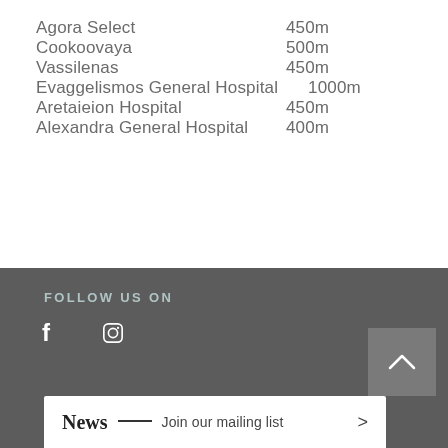Agora Select   450m
Cookoovaya   500m
Vassilenas   450m
Evaggelismos General Hospital   1000m
Aretaieion Hospital   450m
Alexandra General Hospital   400m
FOLLOW US ON
f  (instagram icon)
News ___ Join our mailing list >